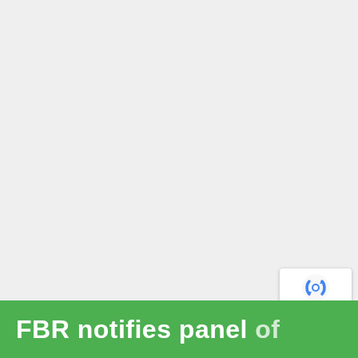[Figure (screenshot): Light gray blank background area occupying the upper ~85% of the page, representing a webpage screenshot with no visible content in this portion.]
FBR notifies panel of
[Figure (logo): Google reCAPTCHA badge in the bottom-right corner with the reCAPTCHA logo (blue circular arrows) and Privacy - Terms text beneath.]